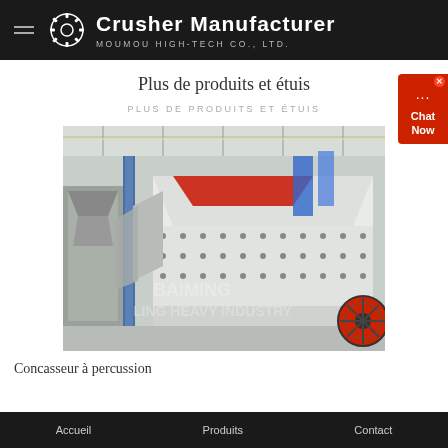Crusher Manufacturer MOUMOU HIGH-TECH CO., LTD.
Plus de produits et étuis
PLUS DE PRODUITS ET ÉTUIS
[Figure (photo): Industrial impact crushers lined up in a factory floor. Large white machinery with red accents, black bolts, and orange wheel, set in a large manufacturing facility with blue pillars and natural lighting.]
Concasseur à percussion
Accueil   Produits   Contact